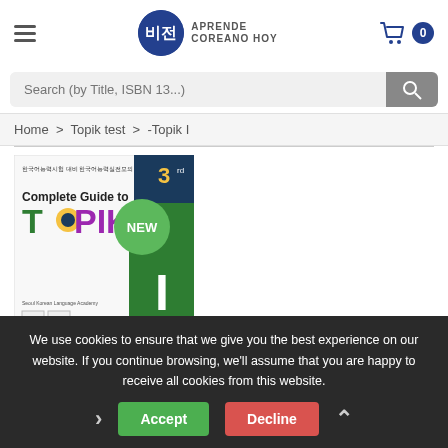[Figure (logo): Aprende Coreano Hoy logo with blue circle and Korean characters, text 'APRENDE COREANO HOY']
Search (by Title, ISBN 13...)
Home > Topik test > -Topik I
[Figure (photo): Complete Guide to TOPIK I book cover, 3rd edition, with green spine and NEW badge]
We use cookies to ensure that we give you the best experience on our website. If you continue browsing, we'll assume that you are happy to receive all cookies from this website.